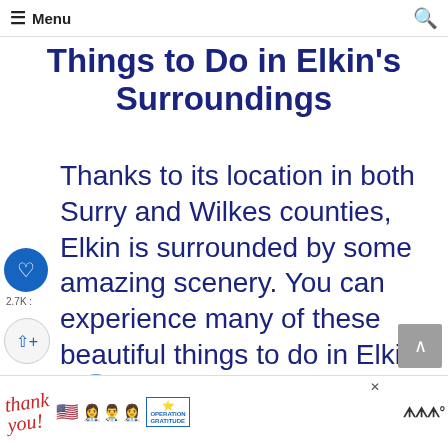Menu
Things to Do in Elkin's Surroundings
Thanks to its location in both Surry and Wilkes counties, Elkin is surrounded by some amazing scenery. You can experience many of these beautiful things to do in Elkin from the seat of your car, your bike, or by hiking around the area.
[Figure (screenshot): Advertisement banner: Thank you message with Operation Gratitude branding, showing healthcare workers holding packages]
WHAT'S NEXT → The NC Travel Map (with...